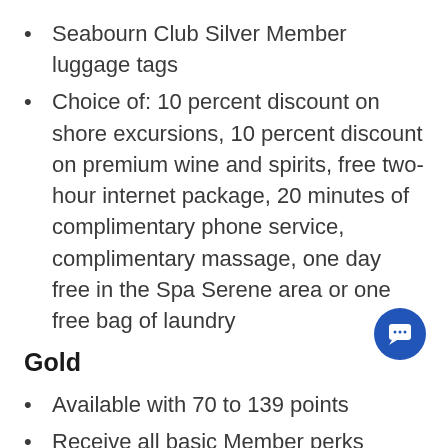Seabourn Club Silver Member luggage tags
Choice of: 10 percent discount on shore excursions, 10 percent discount on premium wine and spirits, free two-hour internet package, 20 minutes of complimentary phone service, complimentary massage, one day free in the Spa Serene area or one free bag of laundry
Gold
Available with 70 to 139 points
Receive all basic Member perks